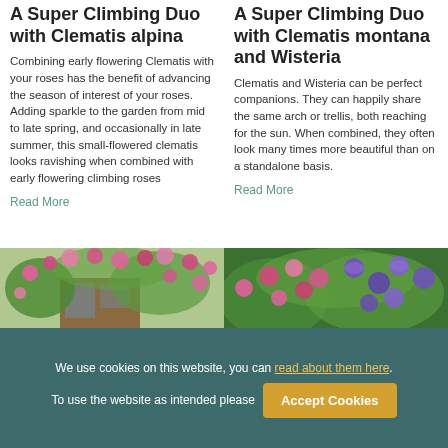A Super Climbing Duo with Clematis alpina
Combining early flowering Clematis with your roses has the benefit of advancing the season of interest of your roses. Adding sparkle to the garden from mid to late spring, and occasionally in late summer, this small-flowered clematis looks ravishing when combined with early flowering climbing roses
Read More
A Super Climbing Duo with Clematis montana and Wisteria
Clematis and Wisteria can be perfect companions. They can happily share the same arch or trellis, both reaching for the sun. When combined, they often look many times more beautiful than on a standalone basis.
Read More
[Figure (photo): Pink roses climbing over an arch or wooden building]
[Figure (photo): Pink roses alongside purple clematis flowers]
We use cookies on this website, you can read about them here. To use the website as intended please Accept Cookies